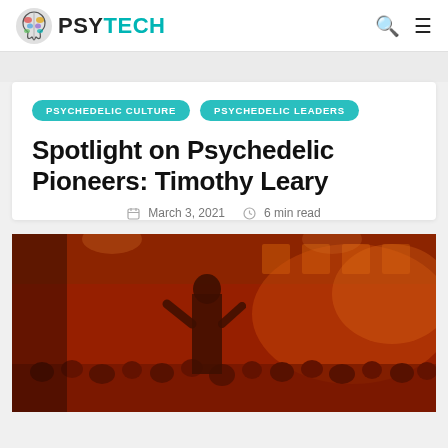PSYTECH
PSYCHEDELIC CULTURE
PSYCHEDELIC LEADERS
Spotlight on Psychedelic Pioneers: Timothy Leary
March 3, 2021   6 min read
[Figure (photo): A person speaking or performing on stage before a large crowd in a red-orange tinted venue. The photo has a strong warm orange-red color cast, showing an audience and architectural interior elements in the background.]